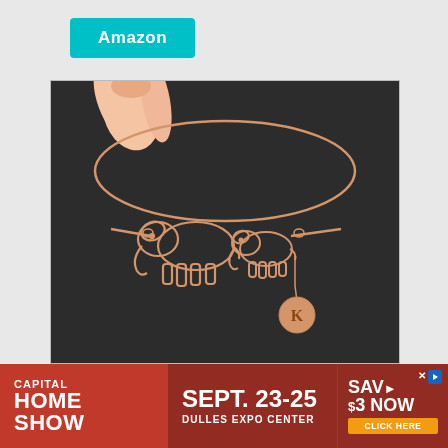[Figure (logo): Amazon logo badge in teal/cyan background with white bold text reading 'Amazon']
[Figure (photo): Close-up photo of a rose gold bangle bracelet with wire-outline elephant charms (a large elephant and smaller elephant) and a round disc charm with the letter K engraved on it, held by fingers against a dark background]
[Figure (infographic): Capital Home Show advertisement banner. Red background. Left section: 'CAPITAL HOME SHOW' in white bold text. Middle section: 'SEPT. 23-25' in large white bold text with 'DULLES EXPO CENTER' below. Right section: 'SAVE $3 NOW' with 'CLICK HERE' yellow button and blue play icon.]